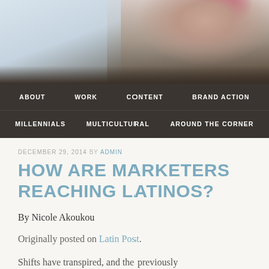[Figure (photo): A woman wearing a pink knit hat in a snowy winter scene, looking downward. Black and white tones with pink accent from hat.]
ABOUT  WORK  CONTENT  BRAND ACTION  MILLENNIALS  MULTICULTURAL  AROUND THE CORNER
DECEMBER 29, 2014 BY ADMIN
HOW ARE MARKETERS REACHING LATINOS?
By Nicole Akoukou
Originally posted on Latin Post.
Shifts have transpired, and the previously